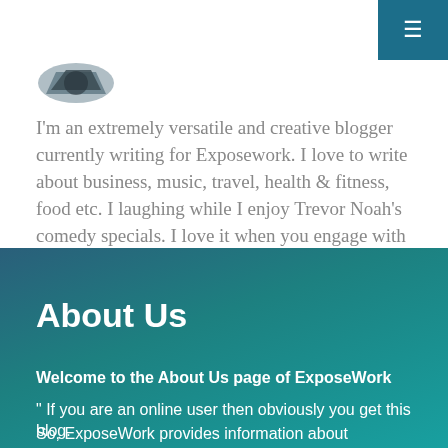[Figure (logo): Circular logo with dark blue/grey design, partially visible at top left]
I'm an extremely versatile and creative blogger currently writing for Exposework. I love to write about business, music, travel, health & fitness, food etc. I laughing while I enjoy Trevor Noah's comedy specials. I love it when you engage with my content, so be sure to leave a comment below the article.
About Us
Welcome to the About Us page of ExposeWork
" If you are an online user then obviously you get this blog. So, ExposeWork provides information about worldwide...